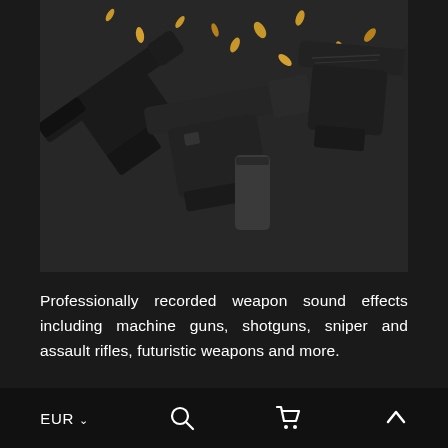[Figure (photo): Multiple black handguns and pistols with loose ammunition/bullet casings scattered on a dark surface, viewed from above]
Professionally recorded weapon sound effects including machine guns, shotguns, sniper and assault rifles, futuristic weapons and more.
[Figure (photo): Golden steampunk gears and cogs on a dark brownish background with light particles]
EUR ∨    🔍    🛒    ⌃